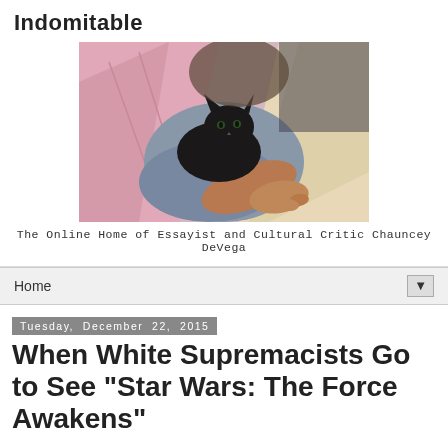Indomitable
[Figure (photo): A person holding a black cat, resting on pink and beige cushions/pillows]
The Online Home of Essayist and Cultural Critic Chauncey DeVega
Home ▼
Tuesday, December 22, 2015
When White Supremacists Go to See "Star Wars: The Force Awakens"
I would like to thank the very kind and generous folks who donated to the December annual fundraiser over the weekend. We are only 100 dollars from the goal. There are some really cool and giving folks out there who will be